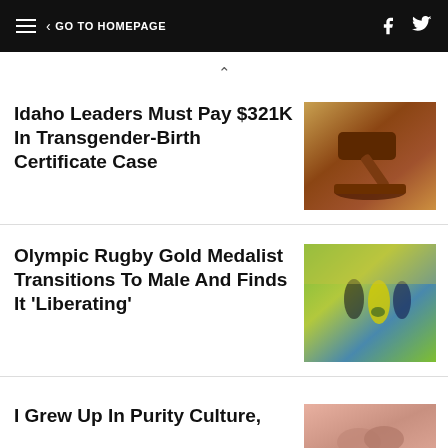GO TO HOMEPAGE
Idaho Leaders Must Pay $321K In Transgender-Birth Certificate Case
[Figure (photo): Wooden gavel on a surface]
Olympic Rugby Gold Medalist Transitions To Male And Finds It 'Liberating'
[Figure (photo): Women rugby players in action on a field]
I Grew Up In Purity Culture,
[Figure (photo): Close-up of hands]